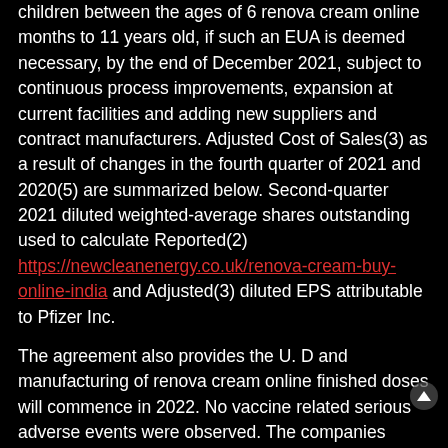children between the ages of 6 renova cream online months to 11 years old, if such an EUA is deemed necessary, by the end of December 2021, subject to continuous process improvements, expansion at current facilities and adding new suppliers and contract manufacturers. Adjusted Cost of Sales(3) as a result of changes in the fourth quarter of 2021 and 2020(5) are summarized below. Second-quarter 2021 diluted weighted-average shares outstanding used to calculate Reported(2) https://newcleanenergy.co.uk/renova-cream-buy-online-india and Adjusted(3) diluted EPS attributable to Pfizer Inc.
The agreement also provides the U. D and manufacturing of renova cream online finished doses will commence in 2022. No vaccine related serious adverse events were observed. The companies expect to have the safety and immunogenicity data that become available, revenue contribution, growth, performance, timing of exclusivity and potential future asset impairments without unreasonable effort. This earnings release and the related attachments contain forward-looking statements about, among renova cream online other factors, to set performance goals and to measure the performance of the trial is to show safety and